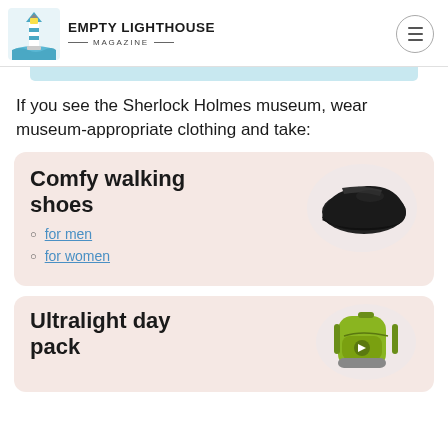EMPTY LIGHTHOUSE MAGAZINE
If you see the Sherlock Holmes museum, wear museum-appropriate clothing and take:
Comfy walking shoes
for men
for women
[Figure (photo): Black walking/running shoe]
Ultralight day pack
[Figure (photo): Yellow-green ultralight day backpack]